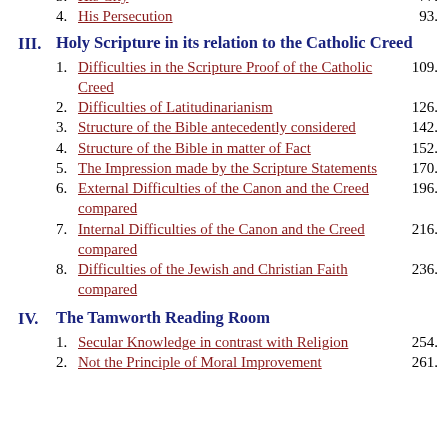3. His City  77.
4. His Persecution  93.
III. Holy Scripture in its relation to the Catholic Creed
1. Difficulties in the Scripture Proof of the Catholic Creed  109.
2. Difficulties of Latitudinarianism  126.
3. Structure of the Bible antecedently considered  142.
4. Structure of the Bible in matter of Fact  152.
5. The Impression made by the Scripture Statements  170.
6. External Difficulties of the Canon and the Creed compared  196.
7. Internal Difficulties of the Canon and the Creed compared  216.
8. Difficulties of the Jewish and Christian Faith compared  236.
IV. The Tamworth Reading Room
1. Secular Knowledge in contrast with Religion  254.
2. Not the Principle of Moral Improvement  261.